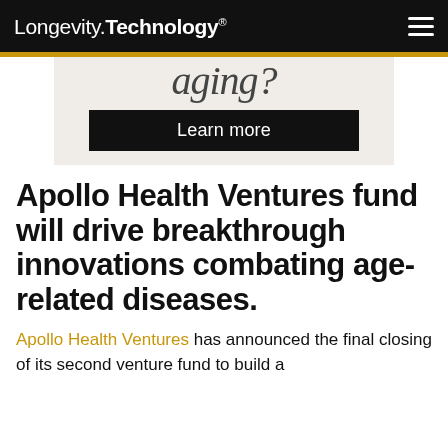Longevity.Technology®
[Figure (other): Advertisement banner showing partial text 'aging?' with a dark 'Learn more' button on a light beige background]
Apollo Health Ventures fund will drive breakthrough innovations combating age-related diseases.
Apollo Health Ventures has announced the final closing of its second venture fund to build a